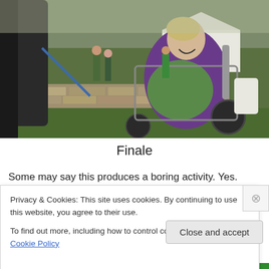[Figure (photo): A woman in a purple top sitting in a wheelchair, laughing joyfully, outdoors near a horse with a blue lead rope. Green grass, stone wall, and a marquee tent in background.]
Finale
Some may say this produces a boring activity. Yes. Safety
Privacy & Cookies: This site uses cookies. By continuing to use this website, you agree to their use.
To find out more, including how to control cookies, see here: Cookie Policy
Close and accept